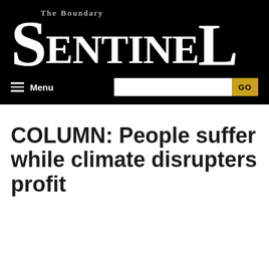The Boundary Sentinel
Menu  GO
COLUMN: People suffer while climate disrupters profit